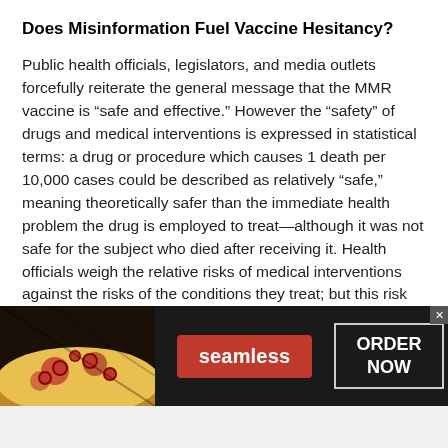Does Misinformation Fuel Vaccine Hesitancy?
Public health officials, legislators, and media outlets forcefully reiterate the general message that the MMR vaccine is “safe and effective.” However the “safety” of drugs and medical interventions is expressed in statistical terms: a drug or procedure which causes 1 death per 10,000 cases could be described as relatively “safe,” meaning theoretically safer than the immediate health problem the drug is employed to treat—although it was not safe for the subject who died after receiving it. Health officials weigh the relative risks of medical interventions against the risks of the conditions they treat; but this risk analysis is less straightforward for prophylactic interventio...
[Figure (other): Seamless food delivery advertisement banner with pizza image on left, red 'seamless' button in center, and 'ORDER NOW' button on right, with close (x) button in top-right corner.]